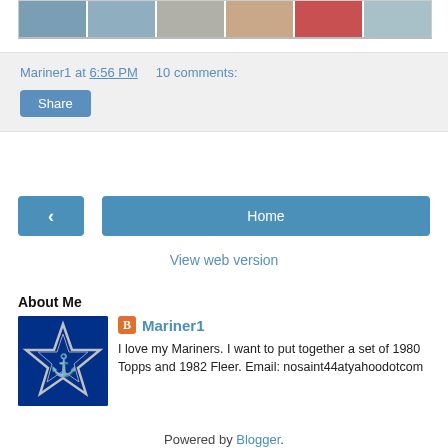[Figure (photo): Strip of baseball cards showing player portraits at the top of the page]
Mariner1 at 6:56 PM    10 comments:
Share
< (previous post button)
Home
View web version
About Me
[Figure (logo): Seattle Mariners logo — white star with stylized trident on blue background]
Mariner1
I love my Mariners. I want to put together a set of 1980 Topps and 1982 Fleer. Email: nosaint44atyahoodotcom
View my complete profile
Powered by Blogger.